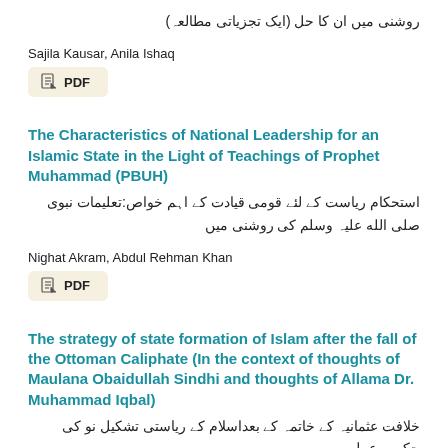روشنی میں ان کا حل (ایک تجزیاتی مطالعہ)
Sajila Kausar, Anila Ishaq
PDF
The Characteristics of National Leadership for an Islamic State in the Light of Teachings of Prophet Muhammad (PBUH)
استحکام ریاست کے لئے قومی قیادت کے اہم خواص:تعلیمات نبوی صلی الله علیہ وسلم کی روشنی میں
Nighat Akram, Abdul Rehman Khan
PDF
The strategy of state formation of Islam after the fall of the Ottoman Caliphate (In the context of thoughts of Maulana Obaidullah Sindhi and thoughts of Allama Dr. Muhammad Iqbal)
خلافت عثمانیہ کے خاتمہ کے بعداسلام کے ریاستی تشکیل نو کی حکمت عملی